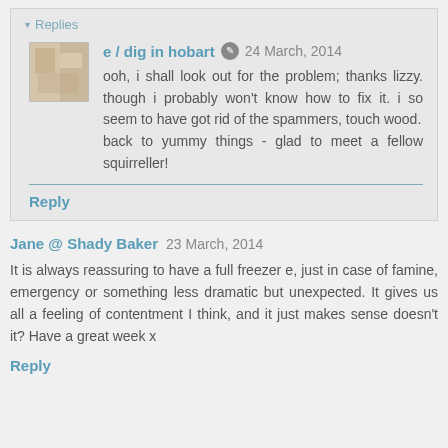▾ Replies
e / dig in hobart  24 March, 2014
ooh, i shall look out for the problem; thanks lizzy. though i probably won't know how to fix it. i so seem to have got rid of the spammers, touch wood.
back to yummy things - glad to meet a fellow squirreller!
Reply
Jane @ Shady Baker  23 March, 2014
It is always reassuring to have a full freezer e, just in case of famine, emergency or something less dramatic but unexpected. It gives us all a feeling of contentment I think, and it just makes sense doesn't it? Have a great week x
Reply